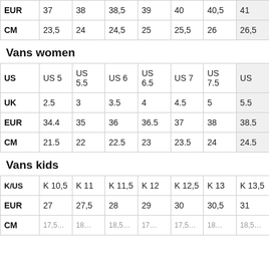|  | col1 | col2 | col3 | col4 | col5 | col6 | col7 |
| --- | --- | --- | --- | --- | --- | --- | --- |
| EUR | 37 | 38 | 38,5 | 39 | 40 | 40,5 | 41 |
| CM | 23,5 | 24 | 24,5 | 25 | 25,5 | 26 | 26,5 |
Vans women
|  | col1 | col2 | col3 | col4 | col5 | col6 | col7 |
| --- | --- | --- | --- | --- | --- | --- | --- |
| US | US 5 | US 5.5 | US 6 | US 6.5 | US 7 | US 7.5 | US… |
| UK | 2.5 | 3 | 3.5 | 4 | 4.5 | 5 | 5.5 |
| EUR | 34.4 | 35 | 36 | 36.5 | 37 | 38 | 38.5 |
| CM | 21.5 | 22 | 22.5 | 23 | 23.5 | 24 | 24.5 |
Vans kids
|  | col1 | col2 | col3 | col4 | col5 | col6 | col7 |
| --- | --- | --- | --- | --- | --- | --- | --- |
| K/US | K 10,5 | K 11 | K 11,5 | K 12 | K 12,5 | K 13 | K 13,5 |
| EUR | 27 | 27,5 | 28 | 29 | 30 | 30,5 | 31 |
| CM | 17,5… | 18… | 18,5… | 19… | 19,5… | 19… | 19,5… |